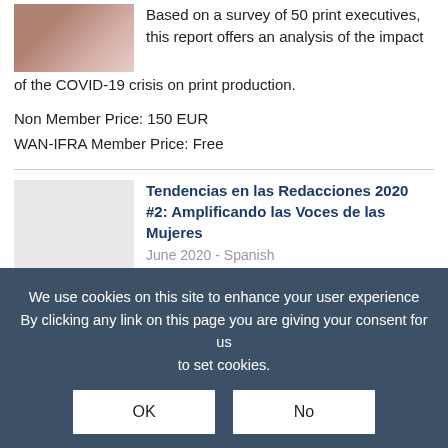Based on a survey of 50 print executives, this report offers an analysis of the impact of the COVID-19 crisis on print production.
Non Member Price: 150 EUR
WAN-IFRA Member Price: Free
Tendencias en las Redacciones 2020 #2: Amplificando las Voces de las Mujeres
June 2020 - Spanish
Un informe para las organizaciones de noticias diseñado para ayudarles a
We use cookies on this site to enhance your user experience By clicking any link on this page you are giving your consent for us to set cookies.
Amplifying Women's Voices: A Gender Balance Guide for Media
May 2020 - English